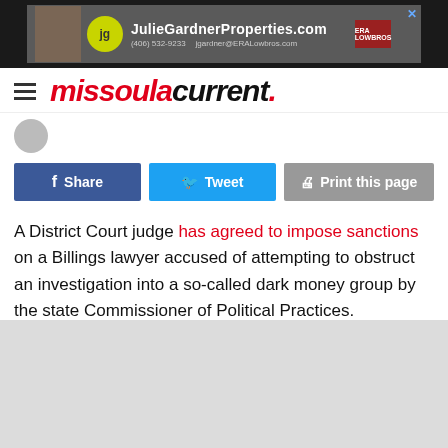[Figure (infographic): Advertisement banner for JulieGardnerProperties.com showing agent photo, yellow-green logo circle with 'jg', website URL, phone (406) 532-9233, email jgardner@ERALowbros.com, and ERA Lowbros branding on dark gray background]
missoula current.
Share
Tweet
Print this page
A District Court judge has agreed to impose sanctions on a Billings lawyer accused of attempting to obstruct an investigation into a so-called dark money group by the state Commissioner of Political Practices.